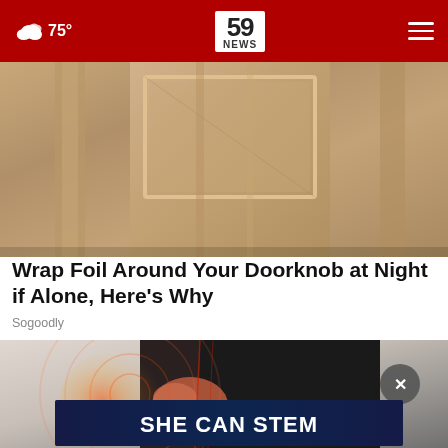59 NEWS | 75°
[Figure (photo): Close-up photo of a wooden door panel with raised rectangular molding in beige/tan tones]
Wrap Foil Around Your Doorknob at Night if Alone, Here's Why
Sogoodly
[Figure (photo): Photo of a person in black clothing holding their lower back/hip area with red pain indicator overlay circles, with a blue 'SHE CAN STEM' advertisement banner at the bottom]